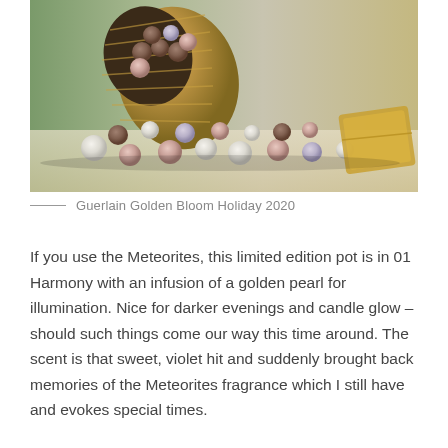[Figure (photo): A golden woven basket tipped on its side with various colored cosmetic pearl balls (Meteorites powder balls in shades of white, pink, brown, and lavender) spilling out onto a white surface. A gold compact is partially visible at the right edge. Background is blurred with green and neutral tones.]
Guerlain Golden Bloom Holiday 2020
If you use the Meteorites, this limited edition pot is in 01 Harmony with an infusion of a golden pearl for illumination. Nice for darker evenings and candle glow – should such things come our way this time around. The scent is that sweet, violet hit and suddenly brought back memories of the Meteorites fragrance which I still have and evokes special times.